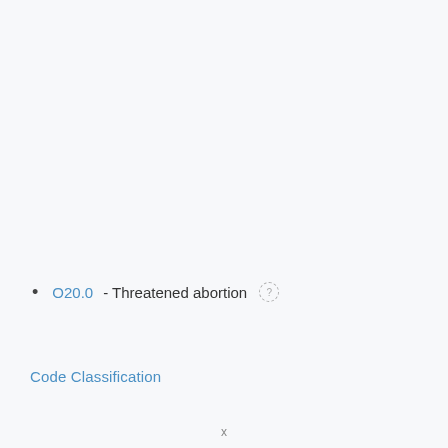O20.0 - Threatened abortion
Code Classification
x